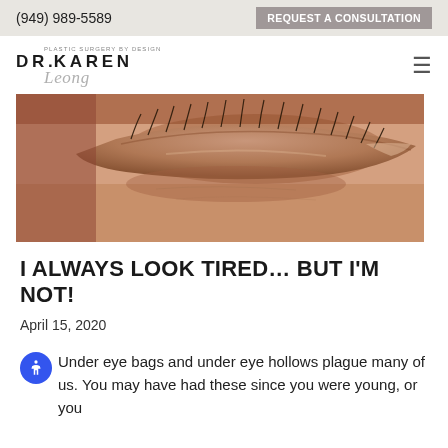(949) 989-5589   REQUEST A CONSULTATION
[Figure (logo): Dr. Karen Leong plastic surgery logo with script signature]
[Figure (photo): Close-up macro photo of a closed human eye showing under-eye area, skin texture, and eyelashes]
I ALWAYS LOOK TIRED... BUT I'M NOT!
April 15, 2020
Under eye bags and under eye hollows plague many of us. You may have had these since you were young, or you